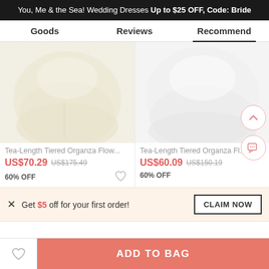You, Me & the Sea! Wedding Dresses Up to $25 OFF, Code: Bride
Goods
Reviews
Recommend
[Figure (photo): Tea-length tiered organza flower girl dress in cream/ivory color, showing lower portion of skirt]
[Figure (photo): Tea-length tiered organza flower girl dress in white color, showing lower portion of skirt]
Tea-Length Tiered Organza Flow...
US$70.29  US$175.49
60% OFF
Tea-Length Tiered Organza Fl...
US$60.09  US$150.19
60% OFF
Get $5 off for your first order!
CLAIM NOW
ADD TO BAG